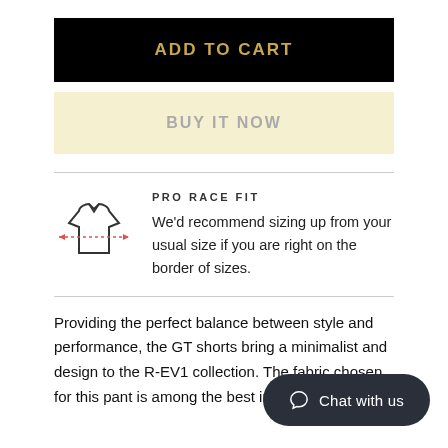ADD TO CART
BUY IT NOW
PRO RACE FIT
We'd recommend sizing up from your usual size if you are right on the border of sizes.
Providing the perfect balance between style and performance, the GT shorts bring a minimalist and design to the R-EV1 collection. The fabric chosen for this pant is among the best in